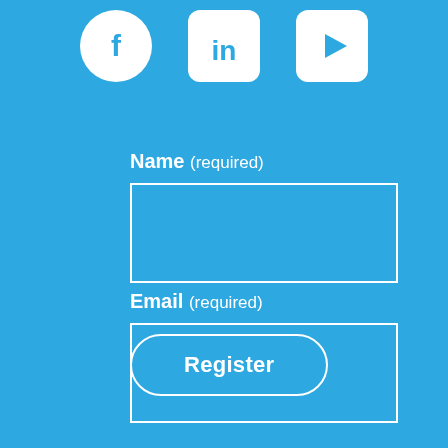[Figure (illustration): Three social media icons at the top: Facebook (circle with 'f'), LinkedIn (rounded square with 'in'), YouTube (rounded square with play button triangle)]
Name (required)
[Figure (other): Empty white-bordered input box for Name field]
Email (required)
[Figure (other): Empty white-bordered input box for Email field]
Register